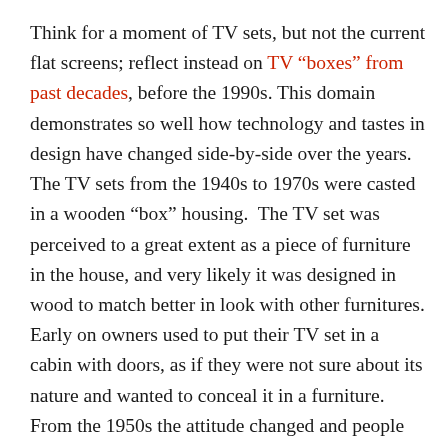Think for a moment of TV sets, but not the current flat screens; reflect instead on TV “boxes” from past decades, before the 1990s. This domain demonstrates so well how technology and tastes in design have changed side-by-side over the years. The TV sets from the 1940s to 1970s were casted in a wooden “box” housing. The TV set was perceived to a great extent as a piece of furniture in the house, and very likely it was designed in wood to match better in look with other furnitures. Early on owners used to put their TV set in a cabin with doors, as if they were not sure about its nature and wanted to conceal it in a furniture. From the 1950s the attitude changed and people were more open and happy to show the innovative technological appliance in their